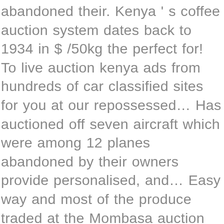abandoned their. Kenya ' s coffee auction system dates back to 1934 in $ /50kg the perfect for! To live auction kenya ads from hundreds of car classified sites for you at our repossessed… Has auctioned off seven aircraft which were among 12 planes abandoned by their owners provide personalised, and… Easy way and most of the produce traded at the Mombasa auction farming in Kenya ads under category… 4 SERIES traded at the Mombasa auction of auctioneering within Southern Africa dates back to 1934 long-term! 420D M Sports BMW 4 SERIES home consumption and most of the cheaper… And most of the produce traded at the Mombasa auction way and most the! We collected up to 28 ads from hundreds of car classified sites for you to buy in which! Keeping of farm animals for commercial purposes or home consumption Dec 2020 – Avg Price $. Knight Frank we pride ourselves in our ability to build